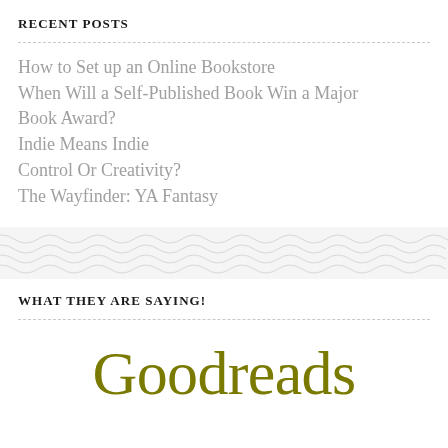RECENT POSTS
How to Set up an Online Bookstore
When Will a Self-Published Book Win a Major Book Award?
Indie Means Indie
Control Or Creativity?
The Wayfinder: YA Fantasy
WHAT THEY ARE SAYING!
Goodreads